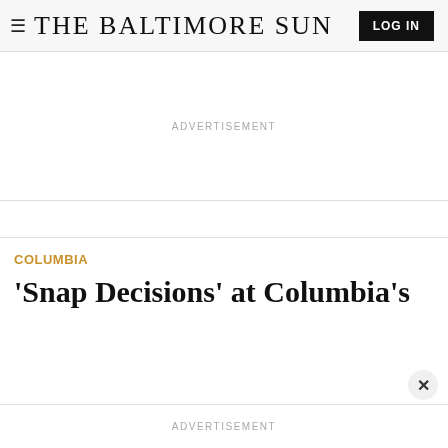≡ THE BALTIMORE SUN  LOG IN
ADVERTISEMENT
COLUMBIA
'Snap Decisions' at Columbia's
ADVERTISEMENT